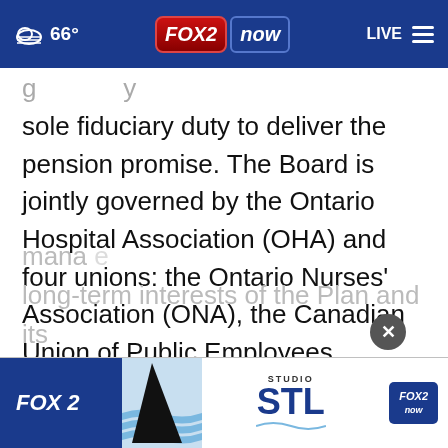66° FOX 2 now LIVE
sole fiduciary duty to deliver the pension promise. The Board is jointly governed by the Ontario Hospital Association (OHA) and four unions: the Ontario Nurses' Association (ONA), the Canadian Union of Public Employees (CUPE), the Ontario Public Service Employees' Union (OPSEU), and the Service Employees International Union (SEIU). This governance model provides representation from b... mana... long-term interests of the Plan and its
[Figure (screenshot): FOX 2 Studio STL advertisement banner overlay at the bottom of the page]